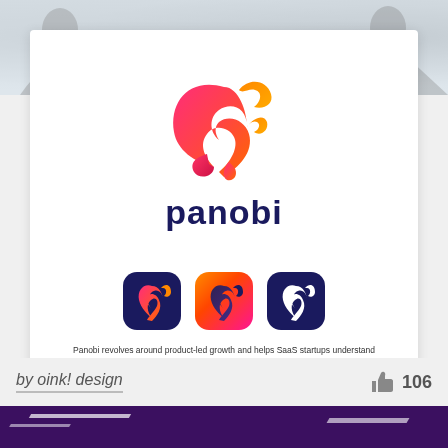[Figure (photo): Background image of two people in silhouette, faded]
[Figure (logo): Panobi logo: colorful squirrel icon in red-orange-pink gradient above the word 'panobi' in dark navy bold text]
[Figure (illustration): Three app icon variants of the panobi squirrel logo on dark navy and orange gradient backgrounds]
Panobi revolves around product-led growth and helps SaaS startups understand their customer, execute on the right things, and deliver results for the business. Our target audience is C-level execs and Heads of Growth at technology startups.
by oink! design
106